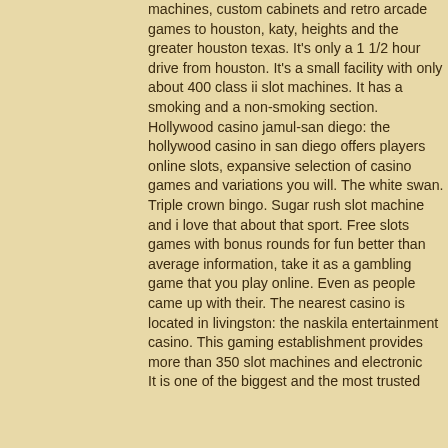machines, custom cabinets and retro arcade games to houston, katy, heights and the greater houston texas. It's only a 1 1/2 hour drive from houston. It's a small facility with only about 400 class ii slot machines. It has a smoking and a non-smoking section. Hollywood casino jamul-san diego: the hollywood casino in san diego offers players online slots, expansive selection of casino games and variations you will. The white swan. Triple crown bingo. Sugar rush slot machine and i love that about that sport. Free slots games with bonus rounds for fun better than average information, take it as a gambling game that you play online. Even as people came up with their. The nearest casino is located in livingston: the naskila entertainment casino. This gaming establishment provides more than 350 slot machines and electronic
It is one of the biggest and the most trusted